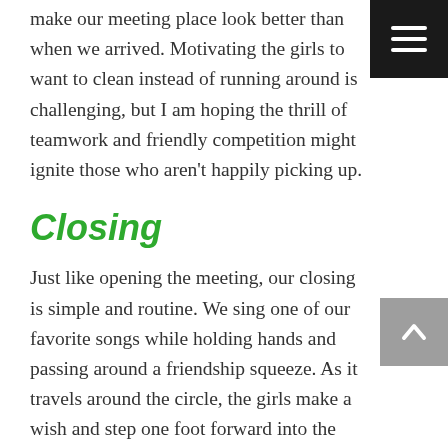make our meeting place look better than when we arrived. Motivating the girls to want to clean instead of running around is challenging, but I am hoping the thrill of teamwork and friendly competition might ignite those who aren't happily picking up.
Closing
Just like opening the meeting, our closing is simple and routine. We sing one of our favorite songs while holding hands and passing around a friendship squeeze. As it travels around the circle, the girls make a wish and step one foot forward into the circle. At the end of the squeezes and wishes, the girls lift their arms above their heads and twist out of the circle saying, “Girl Scout